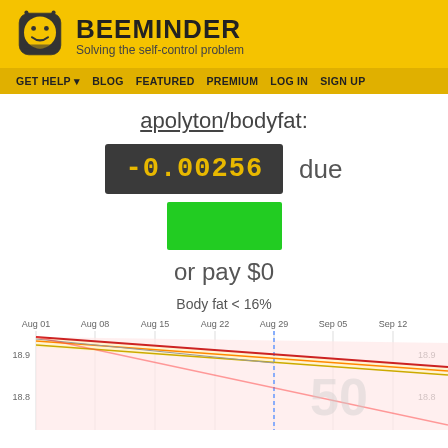BEEMINDER — Solving the self-control problem
GET HELP ▾  BLOG  FEATURED  PREMIUM  LOG IN  SIGN UP
apolyton/bodyfat:
-0.00256 due
or pay $0
Body fat < 16%
[Figure (line-chart): Line chart showing body fat percentage trend from Aug 01 to Sep 12, with values around 18.8–18.9%. Contains a downward sloping red/orange/yellow band indicating the goal corridor, and a vertical dashed blue line around Aug 29.]